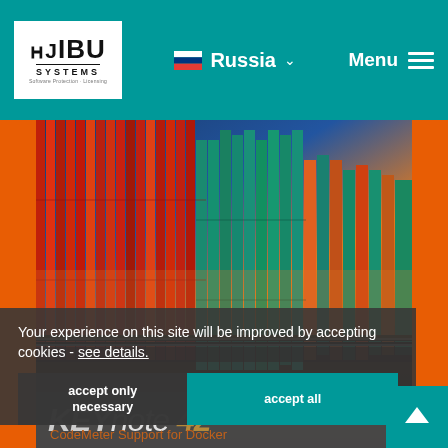[Figure (screenshot): WIBU-SYSTEMS logo in white box on teal navigation bar]
Russia
Menu
[Figure (photo): Colorful freight shipping containers (red, teal, orange) lined up, blue sky with clouds in background]
Your experience on this site will be improved by accepting cookies - see details.
accept only necessary
accept all
[Figure (screenshot): KEYnote 42 magazine cover partial view showing bold KEYnote text with number 42]
CodeMeter Support for Docker